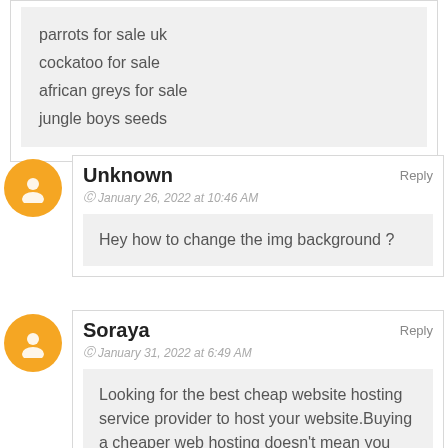parrots for sale uk
cockatoo for sale
african greys for sale
jungle boys seeds
Unknown
January 26, 2022 at 10:46 AM
Reply
Hey how to change the img background ?
Soraya
January 31, 2022 at 6:49 AM
Reply
Looking for the best cheap website hosting service provider to host your website.Buying a cheaper web hosting doesn't mean you have to compromise with the services you need to host your website. Choose Your Web Hosting